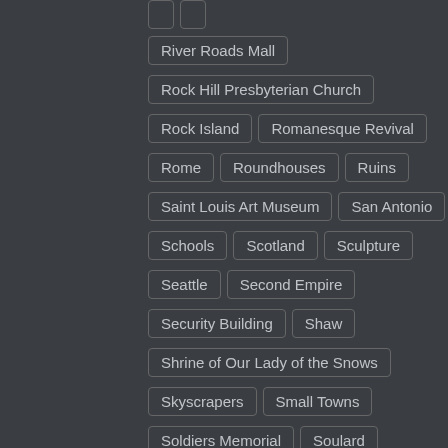River Roads Mall
Rock Hill Presbyterian Church
Rock Island
Romanesque Revival
Rome
Roundhouses
Ruins
Saint Louis Art Museum
San Antonio
Schools
Scotland
Sculpture
Seattle
Second Empire
Security Building
Shaw
Shrine of Our Lady of the Snows
Skyscrapers
Small Towns
Soldiers Memorial
Soulard